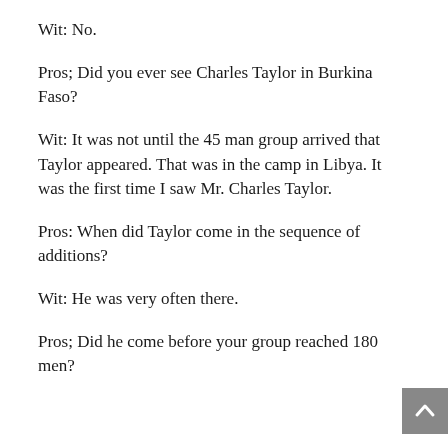Wit: No.
Pros; Did you ever see Charles Taylor in Burkina Faso?
Wit: It was not until the 45 man group arrived that Taylor appeared. That was in the camp in Libya. It was the first time I saw Mr. Charles Taylor.
Pros: When did Taylor come in the sequence of additions?
Wit: He was very often there.
Pros; Did he come before your group reached 180 men?